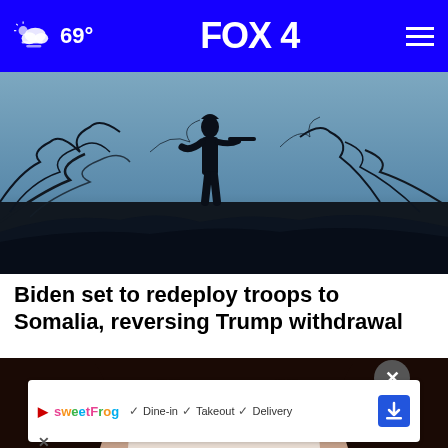FOX 4 — 69°
[Figure (photo): Silhouette of a soldier with rifle standing amid bare tree branches against a dusky sky]
Biden set to redeploy troops to Somalia, reversing Trump withdrawal
[Figure (photo): Close-up of a woman's face with dark hair wearing a mask over her nose]
Advertisement: sweetFrog — Dine-in, Takeout, Delivery